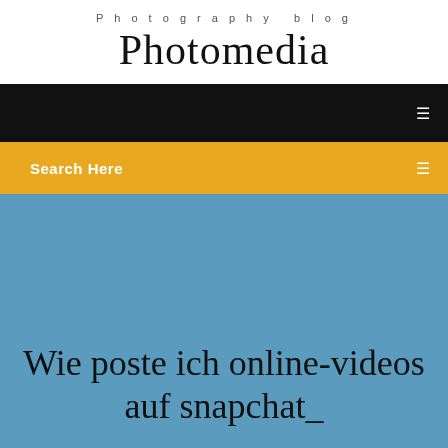Photography blog
Photomedia
[Figure (screenshot): Black navigation bar with a small white icon on the right]
[Figure (screenshot): Yellow/amber search bar with 'Search Here' text on the left and a small white icon on the right]
Wie poste ich online-videos auf snapchat_